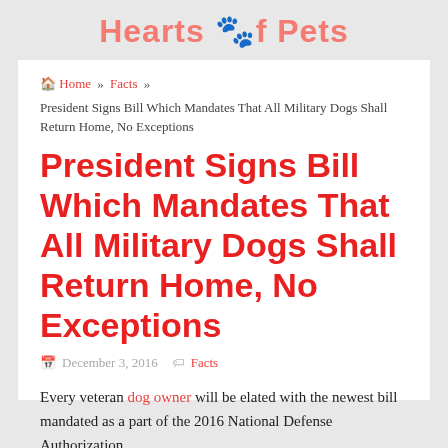Hearts of Pets
Home » Facts » President Signs Bill Which Mandates That All Military Dogs Shall Return Home, No Exceptions
President Signs Bill Which Mandates That All Military Dogs Shall Return Home, No Exceptions
December 3, 2016  Facts
Every veteran dog owner will be elated with the newest bill mandated as a part of the 2016 National Defense Authorization